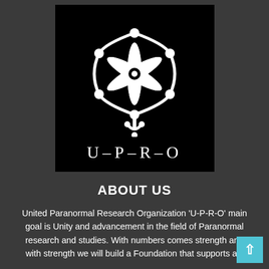[Figure (logo): UPRO logo: white symmetrical floral/star design on black background with text U-P-R-O below in serif font]
ABOUT US
United Paranormal Research Organization 'U-P-R-O' main goal is Unity and advancement in the field of Paranormal research and studies. With numbers comes strength and with strength we will build a Foundation that supports all.